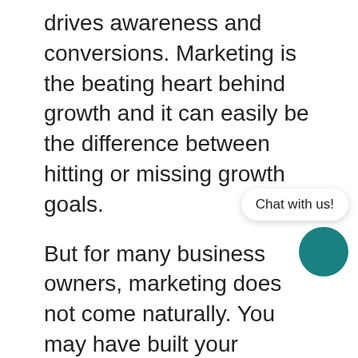drives awareness and conversions. Marketing is the beating heart behind growth and it can easily be the difference between hitting or missing growth goals.
But for many business owners, marketing does not come naturally. You may have built your business because you are a great attorney, or you've created an amazing organic bath and body product, or your software serves a niche that no other software does. That is wh... should be focusing on, not marketing. So if you're not planning on going back to school to get a degree in